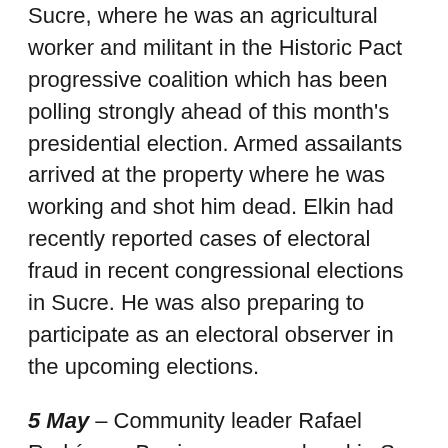Sucre, where he was an agricultural worker and militant in the Historic Pact progressive coalition which has been polling strongly ahead of this month's presidential election. Armed assailants arrived at the property where he was working and shot him dead. Elkin had recently reported cases of electoral fraud in recent congressional elections in Sucre. He was also preparing to participate as an electoral observer in the upcoming elections.
5 May – Community leader Rafael Rodríguez Barrios was murdered in San Pedro, department of Sucre, where he was community council president for the district of La Gloria. He was killed at his home in the area and is the second social activist killed in Sucre in the area...